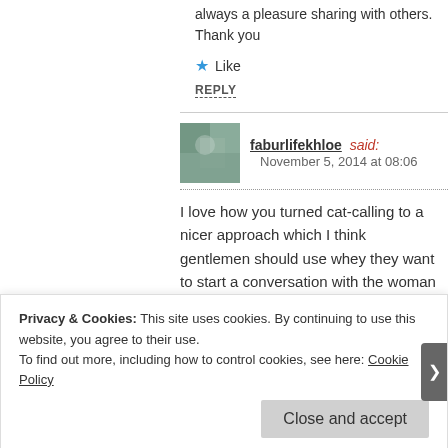always a pleasure sharing with others.
Thank you
Like
REPLY
faburlifekhloe said: November 5, 2014 at 08:06
I love how you turned cat-calling to a nicer approach which I think gentlemen should use whey they want to start a conversation with the woman they are interested in. 😐
Liked by 1 person
Privacy & Cookies: This site uses cookies. By continuing to use this website, you agree to their use.
To find out more, including how to control cookies, see here: Cookie Policy
Close and accept